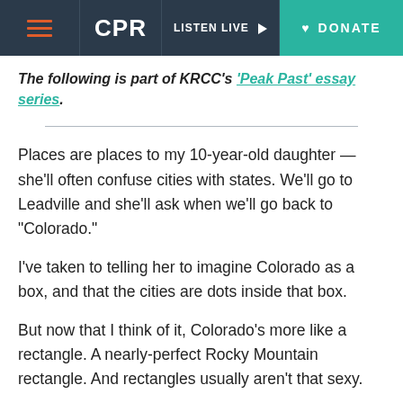CPR | LISTEN LIVE | DONATE
The following is part of KRCC's 'Peak Past' essay series.
Places are places to my 10-year-old daughter — she'll often confuse cities with states. We'll go to Leadville and she'll ask when we'll go back to “Colorado.”
I've taken to telling her to imagine Colorado as a box, and that the cities are dots inside that box.
But now that I think of it, Colorado’s more like a rectangle. A nearly-perfect Rocky Mountain rectangle. And rectangles usually aren’t that sexy.